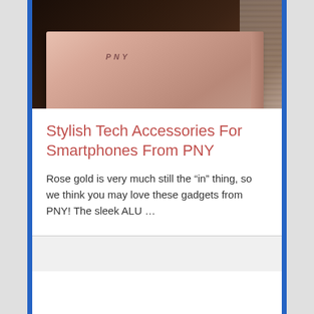[Figure (photo): Rose gold PNY device (laptop/tablet) placed on a dark leather wallet/folder against a light background]
Stylish Tech Accessories For Smartphones From PNY
Rose gold is very much still the “in” thing, so we think you may love these gadgets from PNY! The sleek ALU …